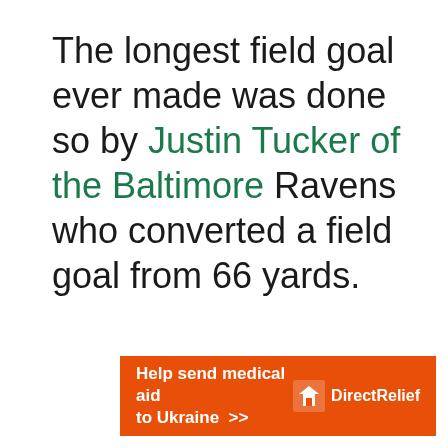The longest field goal ever made was done so by Justin Tucker of the Baltimore Ravens who converted a field goal from 66 yards.
[Figure (infographic): Orange advertisement banner for Direct Relief: 'Help send medical aid to Ukraine >>' with Direct Relief logo on the right]